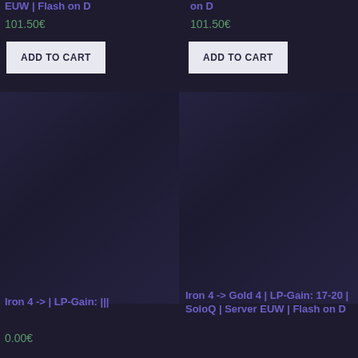EUW | Flash on D
101.50€
ADD TO CART
on D
101.50€
ADD TO CART
[Figure (photo): Dark background product image left, gaming account boost service]
[Figure (photo): Dark background product image right, gaming account boost service]
Iron 4 -> | LP-Gain: |||
0.00€
Iron 4 -> Gold 4 | LP-Gain: 17-20 | SoloQ | Server EUW | Flash on D